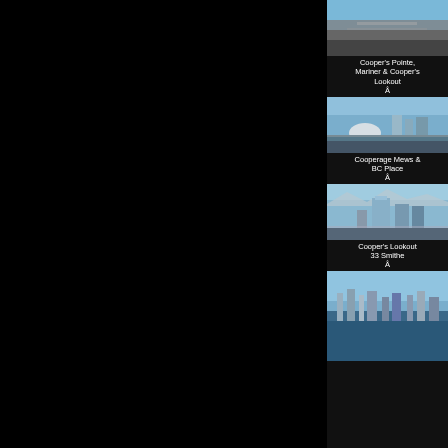[Figure (photo): Aerial view of highway interchange and waterfront area - Cooper's Pointe, Mariner & Cooper's Lookout]
Cooper's Pointe, Mariner & Cooper's Lookout Â
[Figure (photo): Aerial view of BC Place dome stadium and surrounding urban area - Cooperage Mews & BC Place]
Cooperage Mews & BC Place Â
[Figure (photo): Aerial view of high-rise residential towers - Cooper's Lookout 33 Smithe]
Cooper's Lookout 33 Smithe Â
[Figure (photo): Aerial view of harbor and city skyline]